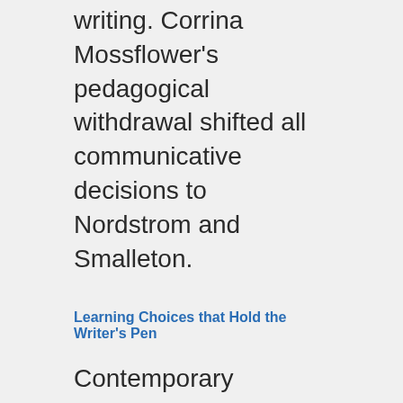writing. Corrina Mossflower's pedagogical withdrawal shifted all communicative decisions to Nordstrom and Smalleton.
Learning Choices that Hold the Writer's Pen
Contemporary homeschooling is the culture of self-educating families who embed intentional learning into their everyday living. Because they operate as dyads of parent-educators and children-learners weaving webs of personal meaning, their learning perspectives, teaching approaches, and interpersonal relationships are family-specific. Like